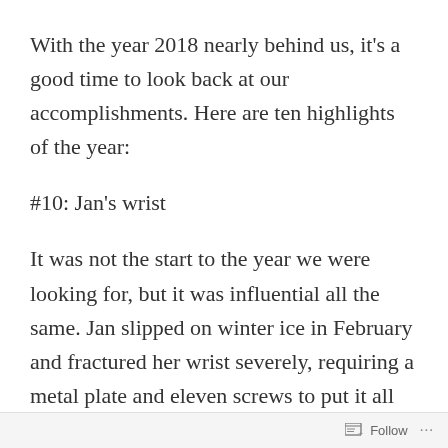With the year 2018 nearly behind us, it's a good time to look back at our accomplishments. Here are ten highlights of the year:
#10: Jan's wrist
It was not the start to the year we were looking for, but it was influential all the same. Jan slipped on winter ice in February and fractured her wrist severely, requiring a metal plate and eleven screws to put it all back together. We weren't sure that she'd be
Follow ...